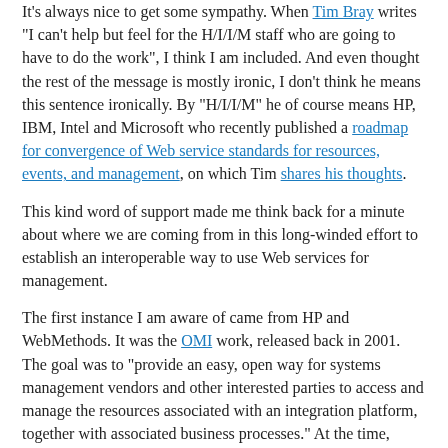It's always nice to get some sympathy. When Tim Bray writes "I can't help but feel for the H/I/I/M staff who are going to have to do the work", I think I am included. And even thought the rest of the message is mostly ironic, I don't think he means this sentence ironically. By "H/I/I/M" he of course means HP, IBM, Intel and Microsoft who recently published a roadmap for convergence of Web service standards for resources, events, and management, on which Tim shares his thoughts.
This kind word of support made me think back for a minute about where we are coming from in this long-winded effort to establish an interoperable way to use Web services for management.
The first instance I am aware of came from HP and WebMethods. It was the OMI work, released back in 2001. The goal was to "provide an easy, open way for systems management vendors and other interested parties to access and manage the resources associated with an integration platform, together with associated business processes." At the time, putting Web services on simple resources was a bit of a stretch, but using Web services to manage integration platforms and the underlying business processes was already in OpenView's agenda.